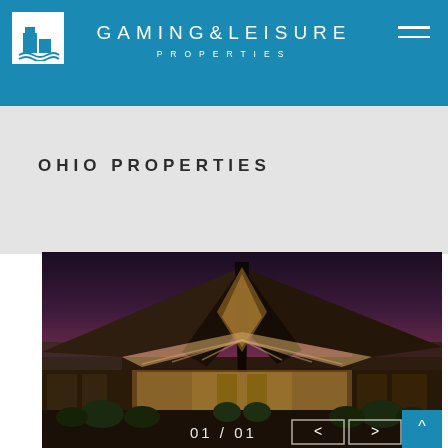GAMING&LEISURE PROPERTIES
OHIO PROPERTIES
[Figure (photo): Exterior architectural photo of a casino property at dusk, featuring a dramatic angular roof structure forming a diamond/arrow shape, illuminated interior visible through glass, with landscaping in foreground against a purple-pink sunset sky. Navigation overlay shows '01 / 01' with back/forward arrow buttons.]